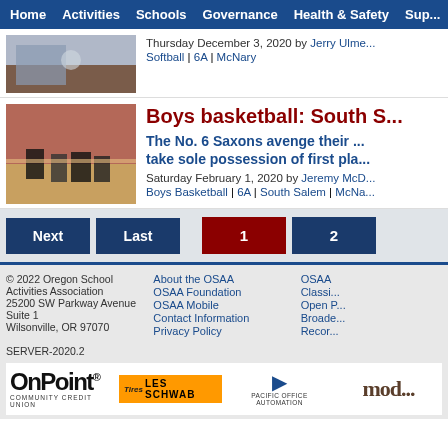Home | Activities | Schools | Governance | Health & Safety | Sup...
Thursday December 3, 2020 by Jerry Ulme... | Softball | 6A | McNary
Boys basketball: South S...
The No. 6 Saxons avenge their ... take sole possession of first pla...
Saturday February 1, 2020 by Jeremy McD... | Boys Basketball | 6A | South Salem | McNa...
Next | Last | 1 | 2
© 2022 Oregon School Activities Association
25200 SW Parkway Avenue Suite 1
Wilsonville, OR 97070
SERVER-2020.2
About the OSAA | OSAA Foundation | OSAA Mobile | Contact Information | Privacy Policy
OSAA | Classi... | Open P... | Broade... | Recor...
[Figure (photo): Thumbnail photo for the first article (basketball-related sports image)]
[Figure (photo): Thumbnail photo for the Boys basketball article showing players on court]
[Figure (logo): OnPoint Community Credit Union logo]
[Figure (logo): Tires Les Schwab logo]
[Figure (logo): Pacific Office Automation logo]
[Figure (logo): Moda Health logo (partially visible)]